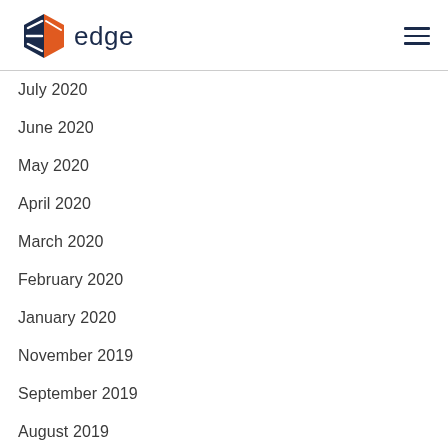edge
July 2020
June 2020
May 2020
April 2020
March 2020
February 2020
January 2020
November 2019
September 2019
August 2019
July 2019
June 2019